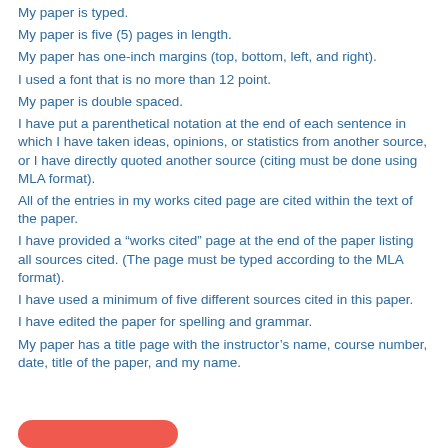My paper is typed.
My paper is five (5) pages in length.
My paper has one-inch margins (top, bottom, left, and right).
I used a font that is no more than 12 point.
My paper is double spaced.
I have put a parenthetical notation at the end of each sentence in which I have taken ideas, opinions, or statistics from another source, or I have directly quoted another source (citing must be done using MLA format).
All of the entries in my works cited page are cited within the text of the paper.
I have provided a “works cited” page at the end of the paper listing all sources cited. (The page must be typed according to the MLA format).
I have used a minimum of five different sources cited in this paper.
I have edited the paper for spelling and grammar.
My paper has a title page with the instructor’s name, course number, date, title of the paper, and my name.